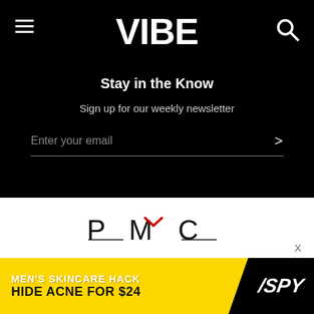VIBE
Stay in the Know
Sign up for our weekly newsletter
Enter your email
[Figure (logo): PMC (Penske Media Corporation) logo in black text with a red accent mark above the M]
OUR SITES
Vibe is a part of Penske Media Corporation. © 2022 Vibe Media, LLC. All Rights Reserved. Powered by WordPress.com VIP
[Figure (infographic): Advertisement banner: MEN'S SKINCARE HACK HIDE ACNE FOR $24 with SPY logo on black/yellow background]